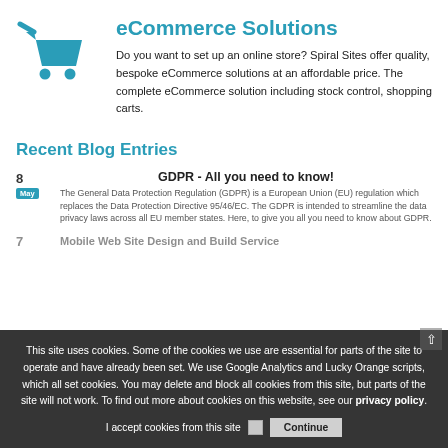[Figure (illustration): Blue shopping cart icon]
eCommerce Solutions
Do you want to set up an online store? Spiral Sites offer quality, bespoke eCommerce solutions at an affordable price. The complete eCommerce solution including stock control, shopping carts.
Recent Blog Entries
GDPR - All you need to know!
8
May
The General Data Protection Regulation (GDPR) is a European Union (EU) regulation which replaces the Data Protection Directive 95/46/EC. The GDPR is intended to streamline the data privacy laws across all EU member states. Here, to give you all you need to know about GDPR.
7
Mobile Web Site Design and Build Service
This site uses cookies. Some of the cookies we use are essential for parts of the site to operate and have already been set. We use Google Analytics and Lucky Orange scripts, which all set cookies. You may delete and block all cookies from this site, but parts of the site will not work. To find out more about cookies on this website, see our privacy policy.
I accept cookies from this site
Continue